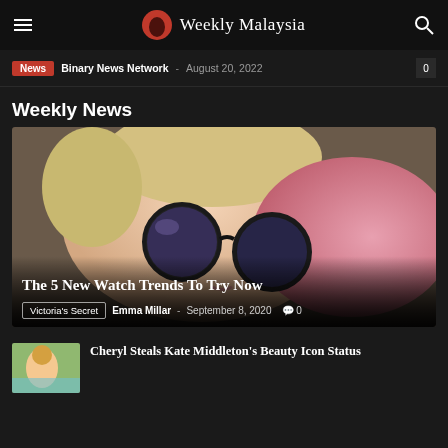Weekly Malaysia
News  Binary News Network  -  August 20, 2022  0
Weekly News
[Figure (photo): Woman lying down wearing large round sunglasses and pink outfit, viewed from above]
The 5 New Watch Trends To Try Now — Victoria's Secret  Emma Millar  -  September 8, 2020  0
Cheryl Steals Kate Middleton's Beauty Icon Status